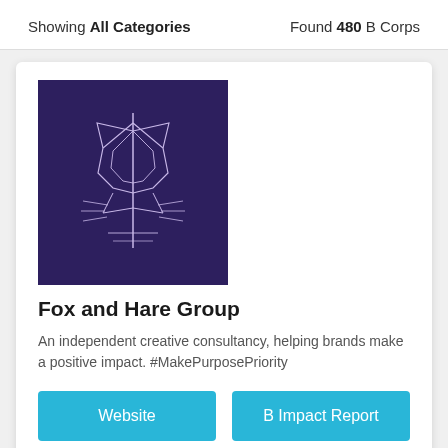Showing All Categories   Found 480 B Corps
[Figure (logo): Fox and Hare Group logo — geometric fox/hare line art in white on dark purple background]
Fox and Hare Group
An independent creative consultancy, helping brands make a positive impact. #MakePurposePriority
Website   B Impact Report
[Figure (logo): Made For Life Organics logo in light grey text]